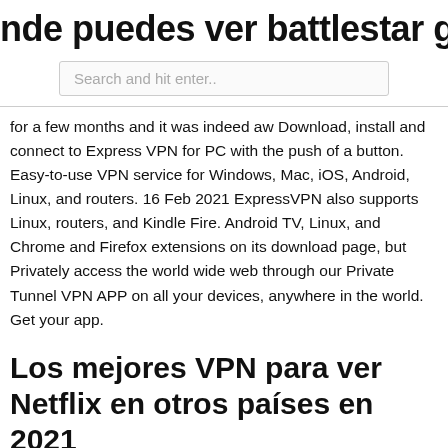nde puedes ver battlestar galactica g
[Figure (screenshot): Search input box with placeholder text 'Search and hit enter..']
for a few months and it was indeed aw Download, install and connect to Express VPN for PC with the push of a button. Easy-to-use VPN service for Windows, Mac, iOS, Android, Linux, and routers. 16 Feb 2021 ExpressVPN also supports Linux, routers, and Kindle Fire. Android TV, Linux, and Chrome and Firefox extensions on its download page, but Privately access the world wide web through our Private Tunnel VPN APP on all your devices, anywhere in the world. Get your app.
Los mejores VPN para ver Netflix en otros países en 2021
a través de él a lo largo de ivacy o express o cualquier otra vpn. No funciona la conexión por cable en Ubuntu 18.04 recién instalado. Cómo descargar e instalar Linux Keylogger - Ubuntu keylogger; Registrador de teclas gratuito KGB, software espía legal y gratuito - tutorial de vídeo; Express